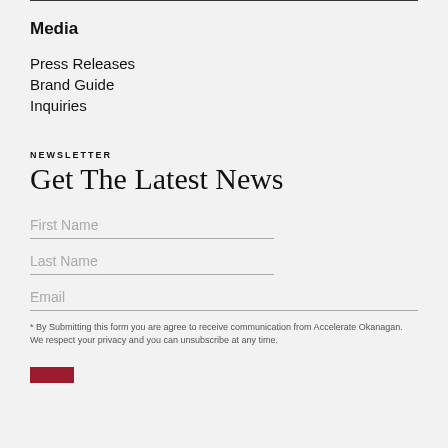Media
Press Releases
Brand Guide
Inquiries
NEWSLETTER
Get The Latest News
First Name
Last Name
Email
* By Submitting this form you are agree to receive communication from Accelerate Okanagan. We respect your privacy and you can unsubscribe at any time.